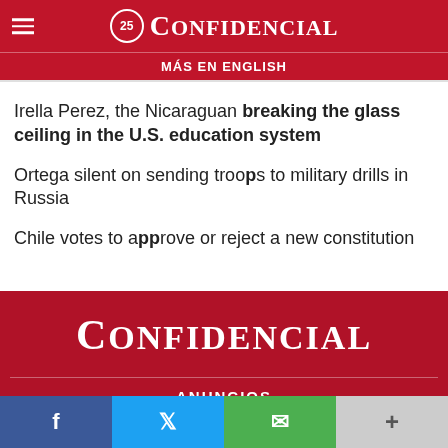25 CONFIDENCIAL
MÁS EN ENGLISH
Irella Perez, the Nicaraguan breaking the glass ceiling in the U.S. education system
Ortega silent on sending troops to military drills in Russia
Chile votes to approve or reject a new constitution
[Figure (logo): CONFIDENCIAL logo in white on dark red background]
ANUNCIOS
f  t  (whatsapp)  +